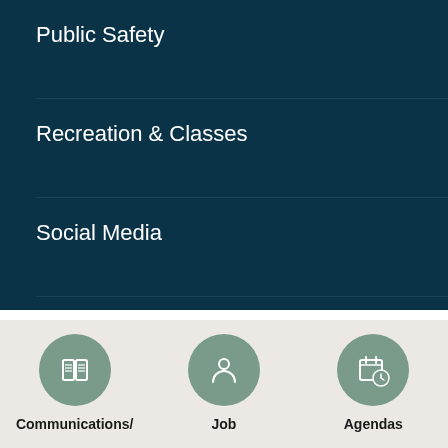Public Safety
Recreation & Classes
Social Media
Planning & Zoning +
[Figure (illustration): Communications icon: open book/notebook symbol inside a sage-green circle]
Communications/
[Figure (illustration): Job icon: person/user silhouette inside a sage-green circle]
Job
[Figure (illustration): Agendas icon: calendar with clock inside a sage-green circle]
Agendas